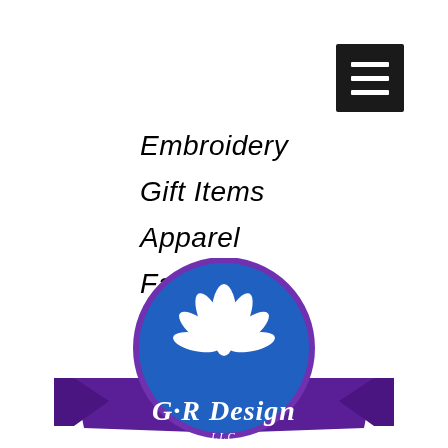[Figure (other): Hamburger menu button — dark square with three white horizontal lines]
Embroidery
Gift Items
Apparel
Favors
Logo Design
[Figure (logo): G·R Design LLC logo — circular blue badge with white leaf/petal design, purple ribbon banner with white italic text reading G·R Design LLC]